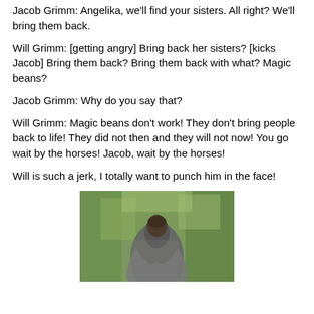Jacob Grimm: Angelika, we'll find your sisters. All right? We'll bring them back.
Will Grimm: [getting angry] Bring back her sisters? [kicks Jacob] Bring them back? Bring them back with what? Magic beans?
Jacob Grimm: Why do you say that?
Will Grimm: Magic beans don't work! They don't bring people back to life! They did not then and they will not now! You go wait by the horses! Jacob, wait by the horses!
Will is such a jerk, I totally want to punch him in the face!
[Figure (photo): A person in a grey cloak or cape photographed from behind, with a blurred green foliage background.]